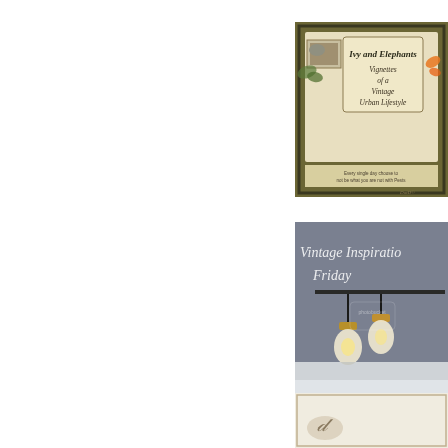[Figure (illustration): Blog banner image for 'Ivy and Elephants – Vignettes of a Vintage Urban Lifestyle'. Olive/khaki background with decorative frame, vintage photographs, butterfly, and text. Small quote text at bottom.]
[Figure (photo): Blog banner image for 'Common Ground' showing vintage-style pendant lights with Edison bulbs hanging from a dark rod against a grey background. Script text reads 'Vintage Inspiration Friday'. Bottom text reads 'Common Ground' and website URL 'www.commonground-doeanvintagedesign.blogs...']
[Figure (illustration): Partial view of a third blog banner image at the bottom right, appears to show a vintage/decorative illustration, only partially visible.]